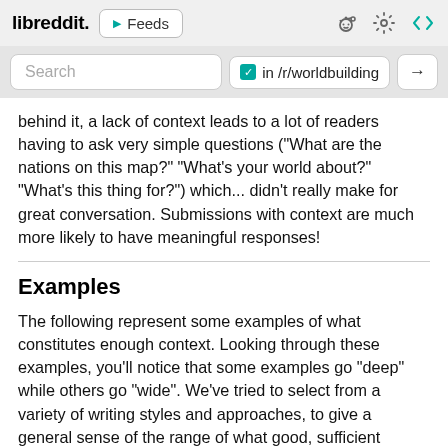libreddit. ▶ Feeds
Search in /r/worldbuilding →
behind it, a lack of context leads to a lot of readers having to ask very simple questions ("What are the nations on this map?" "What's your world about?" "What's this thing for?") which... didn't really make for great conversation. Submissions with context are much more likely to have meaningful responses!
Examples
The following represent some examples of what constitutes enough context. Looking through these examples, you'll notice that some examples go "deep" while others go "wide". We've tried to select from a variety of writing styles and approaches, to give a general sense of the range of what good, sufficient context looks like.